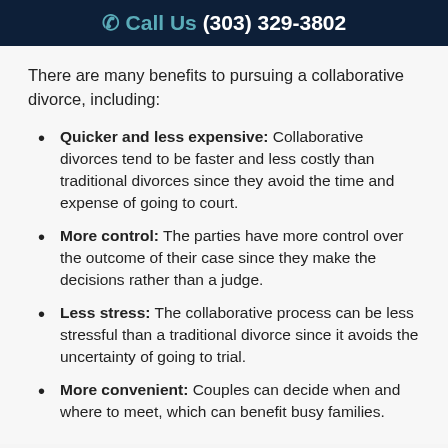Call Us (303) 329-3802
There are many benefits to pursuing a collaborative divorce, including:
Quicker and less expensive: Collaborative divorces tend to be faster and less costly than traditional divorces since they avoid the time and expense of going to court.
More control: The parties have more control over the outcome of their case since they make the decisions rather than a judge.
Less stress: The collaborative process can be less stressful than a traditional divorce since it avoids the uncertainty of going to trial.
More convenient: Couples can decide when and where to meet, which can benefit busy families.